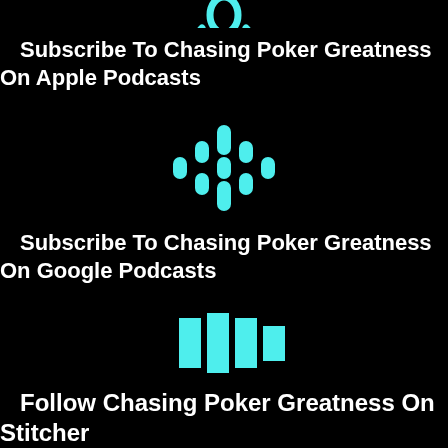[Figure (logo): Apple Podcasts icon in cyan color, partially visible at top]
Subscribe To Chasing Poker Greatness On Apple Podcasts
[Figure (logo): Google Podcasts icon in cyan color]
Subscribe To Chasing Poker Greatness On Google Podcasts
[Figure (logo): Stitcher icon in cyan color - four vertical bars of varying heights]
Follow Chasing Poker Greatness On Stitcher